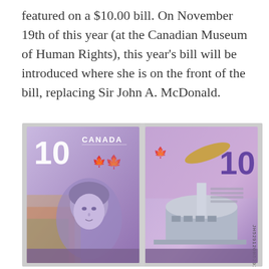featured on a $10.00 bill. On November 19th of this year (at the Canadian Museum of Human Rights), this year's bill will be introduced where she is on the front of the bill, replacing Sir John A. McDonald.
[Figure (photo): Photo of the front and back of a Canadian $10 bill displayed in a frame. The front shows a young woman's portrait (Viola Desmond) in purple tones with 'CANADA' and '10' printed prominently. The back shows the Canadian Museum for Human Rights building and the serial number JH52912607.]